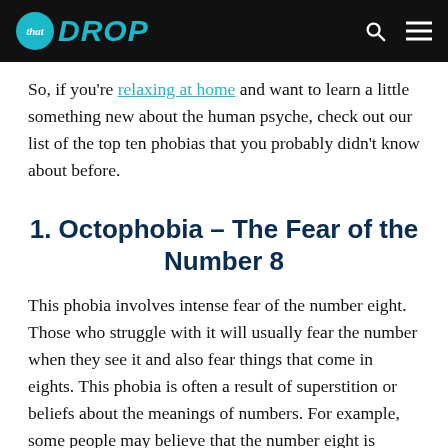that DROP
So, if you're relaxing at home and want to learn a little something new about the human psyche, check out our list of the top ten phobias that you probably didn't know about before.
1. Octophobia – The Fear of the Number 8
This phobia involves intense fear of the number eight. Those who struggle with it will usually fear the number when they see it and also fear things that come in eights. This phobia is often a result of superstition or beliefs about the meanings of numbers. For example, some people may believe that the number eight is unlucky and should be at the if